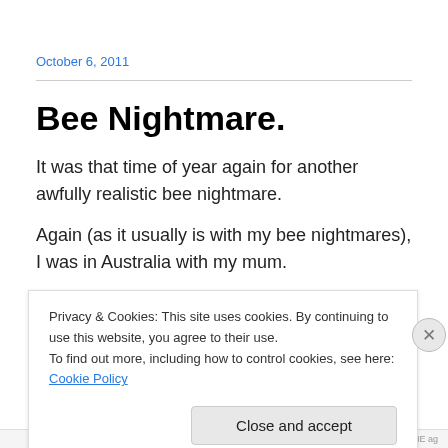October 6, 2011
Bee Nightmare.
It was that time of year again for another awfully realistic bee nightmare.
Again (as it usually is with my bee nightmares), I was in Australia with my mum.
Privacy & Cookies: This site uses cookies. By continuing to use this website, you agree to their use.
To find out more, including how to control cookies, see here: Cookie Policy